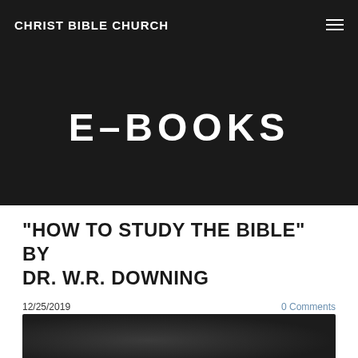CHRIST BIBLE CHURCH
E-BOOKS
"HOW TO STUDY THE BIBLE" BY DR. W.R. DOWNING
12/25/2019
0 Comments
[Figure (photo): Dark background image, partially visible at the bottom of the page]